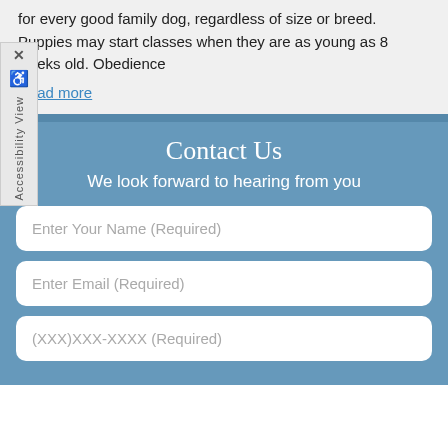for every good family dog, regardless of size or breed. Puppies may start classes when they are as young as 8 weeks old. Obedience
Read more
Contact Us
We look forward to hearing from you
Enter Your Name (Required)
Enter Email (Required)
(XXX)XXX-XXXX (Required)